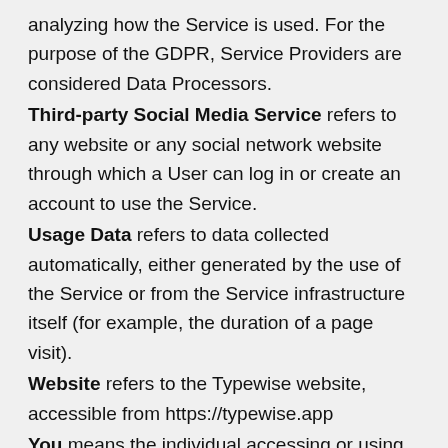analyzing how the Service is used. For the purpose of the GDPR, Service Providers are considered Data Processors.
Third-party Social Media Service refers to any website or any social network website through which a User can log in or create an account to use the Service.
Usage Data refers to data collected automatically, either generated by the use of the Service or from the Service infrastructure itself (for example, the duration of a page visit).
Website refers to the Typewise website, accessible from https://typewise.app
You means the individual accessing or using the Service, or the company, or other legal entity on behalf of which such individual is accessing or using the Service, as applicable.